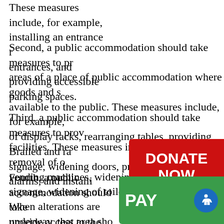These measures include, for example, installing an entrance ramp, entrances, and providing accessible parking spaces.
Second, a public accommodation should take measures to provide areas of a place of public accommodation where goods and services are available to the public. These measures include, for example, repositioning of display racks, rearranging tables, providing Brailed and raised signage, widening doors, providing visual alarms, and installing.
Third, a public accommodation should take measures to provide facilities. These measures include, for example, removal of obstacles, vending machines, widening of doors, installing signage, widening of toilet stalls, and installation.
Fourth, a public accommodation should take measures to provide access to the goods, services, facilities, accommodations of a place of public accommodation.
When alterations are underway, that area should removal modification plan should take into account.
[Figure (other): Red DONATE NOW button overlay]
[Figure (other): Green PAY button overlay with accessibility icon]